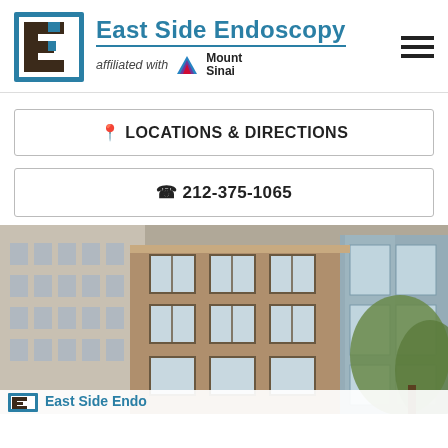East Side Endoscopy — affiliated with Mount Sinai
LOCATIONS & DIRECTIONS
212-375-1065
[Figure (photo): Exterior photo of a multi-story brick building in New York City, with trees visible on the right side. A partial footer strip shows the East Side Endoscopy logo and name.]